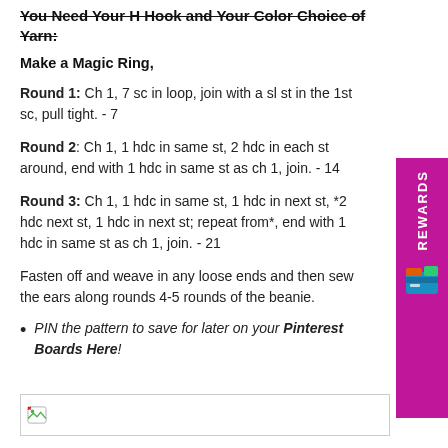You Need Your H Hook and Your Color Choice of Yarn:
Make a Magic Ring,
Round 1: Ch 1, 7 sc in loop, join with a sl st in the 1st sc, pull tight. - 7
Round 2: Ch 1, 1 hdc in same st, 2 hdc in each st around, end with 1 hdc in same st as ch 1, join. - 14
Round 3: Ch 1, 1 hdc in same st, 1 hdc in next st, *2 hdc next st, 1 hdc in next st; repeat from*, end with 1 hdc in same st as ch 1, join. - 21
Fasten off and weave in any loose ends and then sew the ears along rounds 4-5 rounds of the beanie.
PIN the pattern to save for later on your Pinterest Boards Here!
[Figure (photo): Image placeholder with broken image icon]